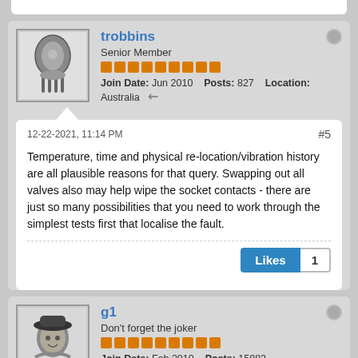trobbins
Senior Member
Join Date: Jun 2010   Posts: 827   Location: Australia
12-22-2021, 11:14 PM
#5
Temperature, time and physical re-location/vibration history are all plausible reasons for that query. Swapping out all valves also may help wipe the socket contacts - there are just so many possibilities that you need to work through the simplest tests first that localise the fault.
Likes 1
g1
Don't forget the joker
Join Date: Feb 2010   Posts: 15883   Location: Canada, somewhere north of Fargo
12-23-2021, 01:17 AM
#6